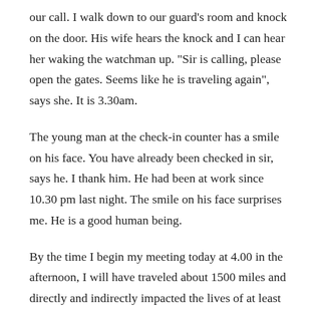our call. I walk down to our guard's room and knock on the door. His wife hears the knock and I can hear her waking the watchman up. "Sir is calling, please open the gates. Seems like he is traveling again", says she. It is 3.30am.
The young man at the check-in counter has a smile on his face. You have already been checked in sir, says he. I thank him. He had been at work since 10.30 pm last night. The smile on his face surprises me. He is a good human being.
By the time I begin my meeting today at 4.00 in the afternoon, I will have traveled about 1500 miles and directly and indirectly impacted the lives of at least 50 fellow travelers in time.  Our lives are intrinsically intertwined with those of others. Any omission or commission affects the balance of things. My life is not just mine to live. I need to accommodate the lives of a million others who are